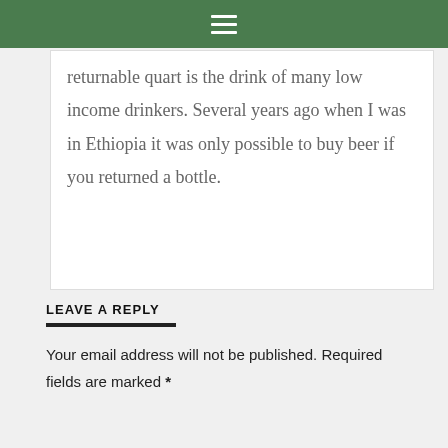☰
returnable quart is the drink of many low income drinkers. Several years ago when I was in Ethiopia it was only possible to buy beer if you returned a bottle.
LEAVE A REPLY
Your email address will not be published. Required fields are marked *